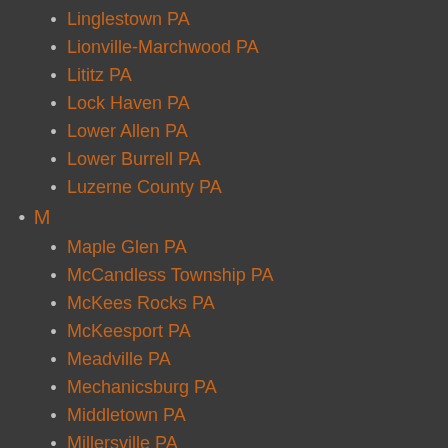Linglestown PA
Lionville-Marchwood PA
Lititz PA
Lock Haven PA
Lower Allen PA
Lower Burrell PA
Luzerne County PA
M
Maple Glen PA
McCandless Township PA
McKees Rocks PA
McKeesport PA
Meadville PA
Mechanicsburg PA
Middletown PA
Millersville PA
Milton PA
Monessen PA
Monroeville PA
Montgomery County PA
Montgomeryville PA
Morrisville PA
Mount Joy PA